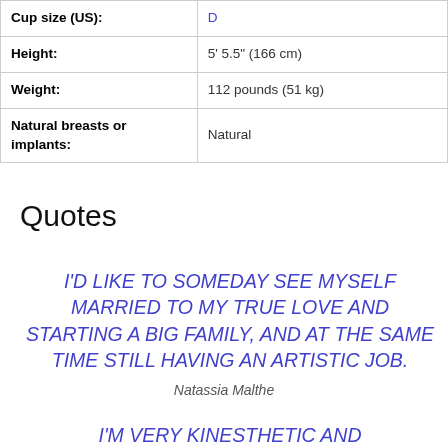| Attribute | Value |
| --- | --- |
| Cup size (US): | D |
| Height: | 5' 5.5" (166 cm) |
| Weight: | 112 pounds (51 kg) |
| Natural breasts or implants: | Natural |
Quotes
I'D LIKE TO SOMEDAY SEE MYSELF MARRIED TO MY TRUE LOVE AND STARTING A BIG FAMILY, AND AT THE SAME TIME STILL HAVING AN ARTISTIC JOB.
Natassia Malthe
I'M VERY KINESTHETIC AND